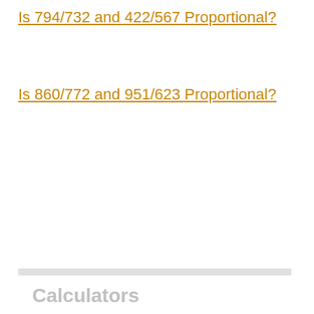Is 794/732 and 422/567 Proportional?
Is 860/772 and 951/623 Proportional?
Calculators